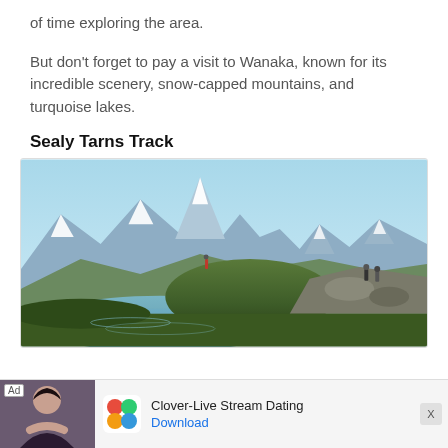of time exploring the area.
But don't forget to pay a visit to Wanaka, known for its incredible scenery, snow-capped mountains, and turquoise lakes.
Sealy Tarns Track
[Figure (photo): Hikers on rocky terrain with a tarn (mountain lake) in the foreground and snow-capped mountains including a prominent peak in the background under a clear blue sky.]
Ad — Clover-Live Stream Dating — Download